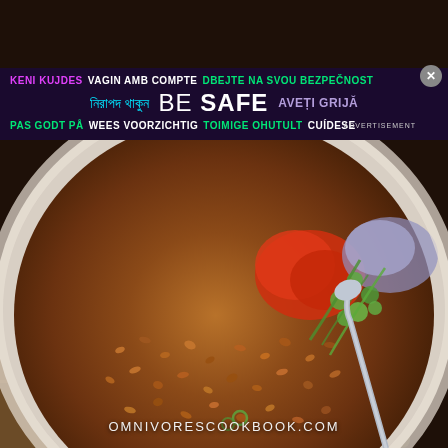[Figure (photo): Bowl of lentil or bean stew topped with diced red tomatoes, sliced green onions, and chopped white onions, with a spoon in the bowl, placed on a wooden cutting board with a dark background]
[Figure (infographic): Dark blue/navy advertisement banner overlay with multilingual 'BE SAFE' safety message. Row 1: 'KENI KUJDES' (pink/magenta), 'VAGIN AMB COMPTE' (white), 'DBEJTE NA SVOU BEZPECNOST' (green). Row 2: Bengali text (cyan), 'BE SAFE' (white large), 'AVETI GRIJA' (purple). Row 3: 'PAS GODT PA' (green), 'WEES VOORZICHTIG' (white), 'TOIMIGE OHUTULT' (green), 'CUIDESE' (white). Close button (X) in gray circle top right. 'ADVERTISEMENT' label bottom right of banner.]
OMNIVORESCOOKBOOK.COM